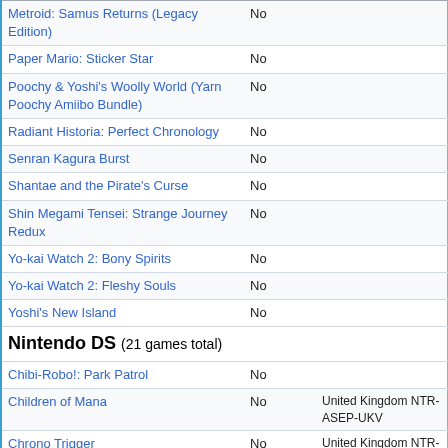| Game | No | Notes |
| --- | --- | --- |
| Metroid: Samus Returns (Legacy Edition) | No |  |
| Paper Mario: Sticker Star | No |  |
| Poochy & Yoshi's Woolly World (Yarn Poochy Amiibo Bundle) | No |  |
| Radiant Historia: Perfect Chronology | No |  |
| Senran Kagura Burst | No |  |
| Shantae and the Pirate's Curse | No |  |
| Shin Megami Tensei: Strange Journey Redux | No |  |
| Yo-kai Watch 2: Bony Spirits | No |  |
| Yo-kai Watch 2: Fleshy Souls | No |  |
| Yoshi's New Island | No |  |
| Nintendo DS (21 games total) |  |  |
| Chibi-Robo!: Park Patrol | No |  |
| Children of Mana | No | United Kingdom NTR-ASEP-UKV |
| Chrono Trigger | No | United Kingdom NTR-YQUP-UKV |
| Disgaea DS | No |  |